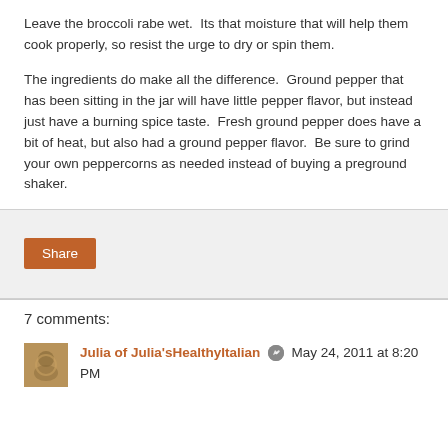Leave the broccoli rabe wet.  Its that moisture that will help them cook properly, so resist the urge to dry or spin them.
The ingredients do make all the difference.  Ground pepper that has been sitting in the jar will have little pepper flavor, but instead just have a burning spice taste.  Fresh ground pepper does have a bit of heat, but also had a ground pepper flavor.  Be sure to grind your own peppercorns as needed instead of buying a preground shaker.
Share
7 comments:
Julia of Julia'sHealthyItalian  May 24, 2011 at 8:20 PM